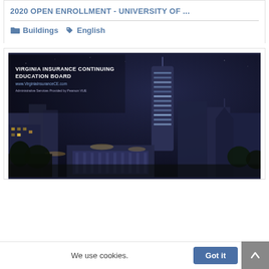2020 OPEN ENROLLMENT - UNIVERSITY OF ...
Buildings   English
[Figure (photo): Night aerial photo of a city skyline with a tall cylindrical skyscraper, illuminated buildings and streets, with text overlay reading: VIRGINIA INSURANCE CONTINUING EDUCATION BOARD, www.VirginiaInsuranceCE.com, Administrative Services Provided by Pearson VUE]
We use cookies.
Got it